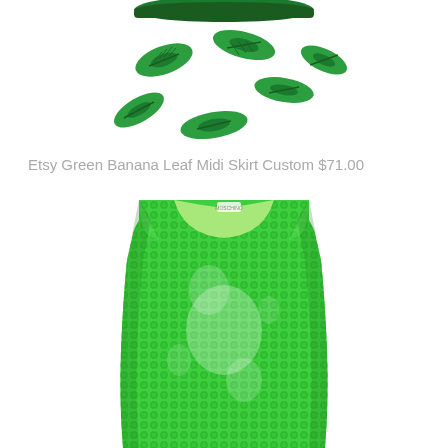[Figure (photo): Green and white banana leaf print flared midi skirt, partially cropped at top]
Etsy Green Banana Leaf Midi Skirt Custom $71.00
[Figure (photo): Green sequin sleeveless fitted dress/top, shown from front with light green lining visible at neckline]